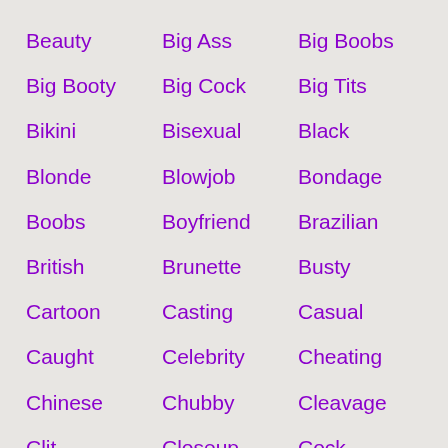Beauty
Big Ass
Big Boobs
Big Booty
Big Cock
Big Tits
Bikini
Bisexual
Black
Blonde
Blowjob
Bondage
Boobs
Boyfriend
Brazilian
British
Brunette
Busty
Cartoon
Casting
Casual
Caught
Celebrity
Cheating
Chinese
Chubby
Cleavage
Clit
Closeup
Cock
College Girl
Compilation
Couple
Creampie
Cuckold
Cumshot
Cute
Czech
Deepthroat